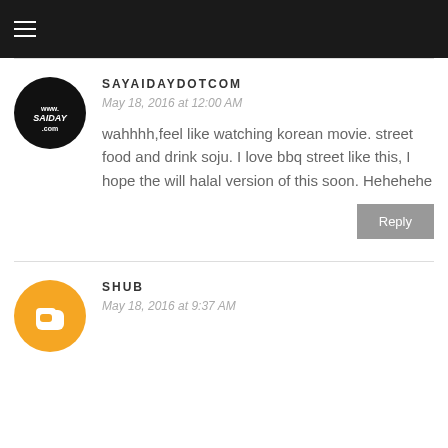Navigation bar with hamburger menu
SAYAIDAYDOTCOM
May 18, 2016 at 12:00 AM
wahhhh,feel like watching korean movie. street food and drink soju. I love bbq street like this, I hope the will halal version of this soon. Hehehehe
Reply
SHUB
May 18, 2016 at 9:37 AM